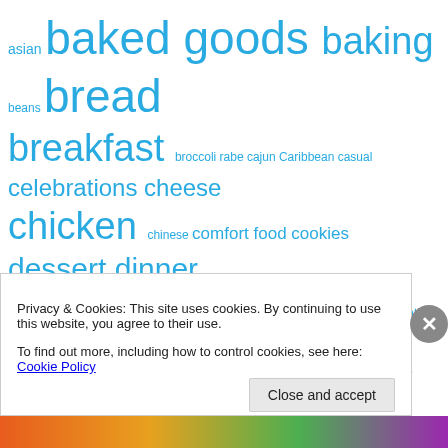[Figure (other): Tag cloud of food-related terms in various sizes and shades of cyan/teal blue, including: asian, baked goods, baking, beans, bread, breakfast, broccoli rabe, cajun, Caribbean, casual, celebrations, cheese, chicken, chinese, comfort food, cookies, dessert, dinner, dough, eggs, fall, farm, farmer's market, fish, fried food, gratin, Greek, green, grilling, hearty, holidays, Jewish, lamb, leftovers, lemon, lunch, meat, Mexican, middle eastern, Moroccan, noodles, one pot, original recipe, pasta, pastry, pie, pizza, poetry, pork, potatoes, poultry, recipes, restaurants, rice, running, salad, seafood, seder, side dishes, siracha, soup, southern, spicy, spring, stew, summer, sushi, traditions, travel, vegan, vegetables, vegetarian, winter (partially visible)]
Privacy & Cookies: This site uses cookies. By continuing to use this website, you agree to their use.
To find out more, including how to control cookies, see here: Cookie Policy
Close and accept